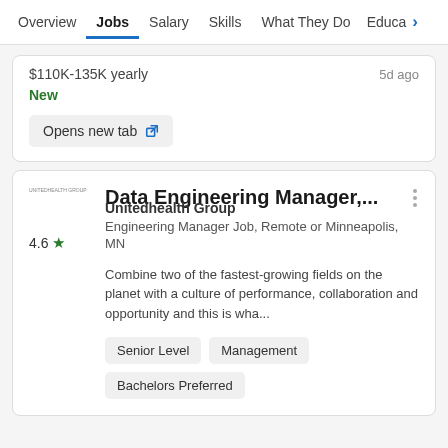Overview | Jobs | Salary | Skills | What They Do | Educa >
$110K-135K yearly   5d ago
New
Opens new tab
Data Engineering Manager,...
Unitedhealth Group
Engineering Manager Job, Remote or Minneapolis, MN
Combine two of the fastest-growing fields on the planet with a culture of performance, collaboration and opportunity and this is wha...
Senior Level
Management
Bachelors Preferred